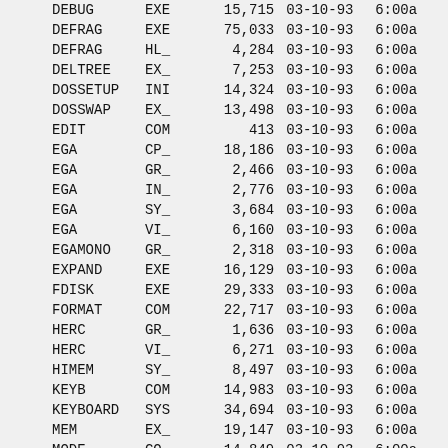| Name | Ext | Size | Date | Time |
| --- | --- | --- | --- | --- |
| DEBUG | EXE | 15,715 | 03-10-93 | 6:00a |
| DEFRAG | EXE | 75,033 | 03-10-93 | 6:00a |
| DEFRAG | HL_ | 4,284 | 03-10-93 | 6:00a |
| DELTREE | EX_ | 7,253 | 03-10-93 | 6:00a |
| DOSSETUP | INI | 14,324 | 03-10-93 | 6:00a |
| DOSSWAP | EX_ | 13,498 | 03-10-93 | 6:00a |
| EDIT | COM | 413 | 03-10-93 | 6:00a |
| EGA | CP_ | 18,186 | 03-10-93 | 6:00a |
| EGA | GR_ | 2,466 | 03-10-93 | 6:00a |
| EGA | IN_ | 2,776 | 03-10-93 | 6:00a |
| EGA | SY_ | 3,684 | 03-10-93 | 6:00a |
| EGA | VI_ | 6,160 | 03-10-93 | 6:00a |
| EGAMONO | GR_ | 2,318 | 03-10-93 | 6:00a |
| EXPAND | EXE | 16,129 | 03-10-93 | 6:00a |
| FDISK | EXE | 29,333 | 03-10-93 | 6:00a |
| FORMAT | COM | 22,717 | 03-10-93 | 6:00a |
| HERC | GR_ | 1,636 | 03-10-93 | 6:00a |
| HERC | VI_ | 6,271 | 03-10-93 | 6:00a |
| HIMEM | SY_ | 8,497 | 03-10-93 | 6:00a |
| KEYB | COM | 14,983 | 03-10-93 | 6:00a |
| KEYBOARD | SYS | 34,694 | 03-10-93 | 6:00a |
| MEM | EX_ | 19,147 | 03-10-93 | 6:00a |
| MODE | CO_ | 14,849 | 03-10-93 | 6:00a |
| MONO | GR_ | 296 | 03-10-93 | 6:00a |
| MONO | IN_ | 2,451 | 03-10-93 | 6:00a |
| MORE | COM | 2,546 | 03-10-93 | 6:00a |
| MOVE | EX_ | 11,659 | 03-10-93 | 6:00a |